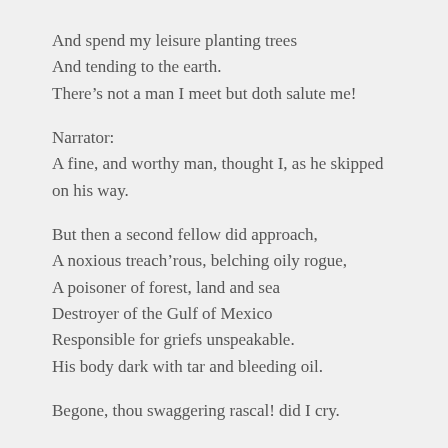And spend my leisure planting trees
And tending to the earth.
There’s not a man I meet but doth salute me!
Narrator:
A fine, and worthy man, thought I, as he skipped on his way.
But then a second fellow did approach,
A noxious treach’rous, belching oily rogue,
A poisoner of forest, land and sea
Destroyer of the Gulf of Mexico
Responsible for griefs unspeakable.
His body dark with tar and bleeding oil.
Begone, thou swaggering rascal! did I cry.
Brother 2 (the same actor):